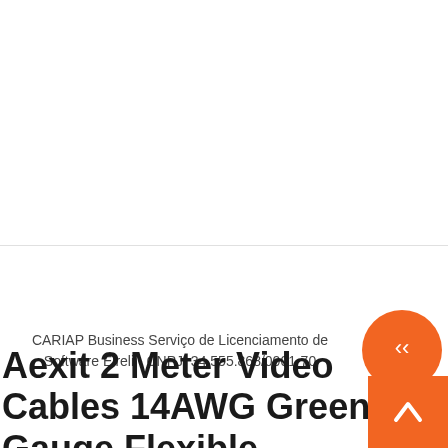CARIAP Business Serviço de Licenciamento de Software Eireli - CNPJ: 34.555.868/0001-70
[Figure (other): Orange circle button with double chevron down icon]
Aexit 2 Meter Video Cables 14AWG Green Gauge Flexible Stranded Copper Cable Silicone Wire for Firewire Cab for RC
[Figure (other): Orange square button with up arrow icon]